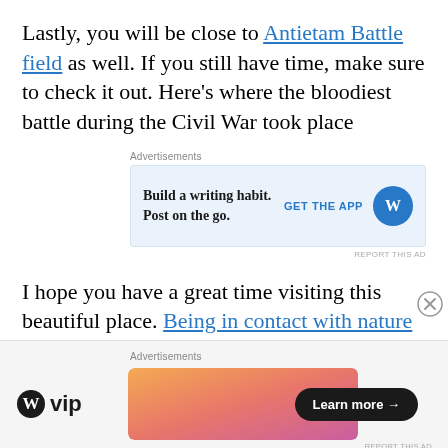Lastly, you will be close to Antietam Battle field as well. If you still have time, make sure to check it out. Here's where the bloodiest battle during the Civil War took place
[Figure (infographic): Advertisement banner: 'Build a writing habit. Post on the go.' with GET THE APP button and WordPress logo on light blue background]
I hope you have a great time visiting this beautiful place. Being in contact with nature is proven to make you feel better and happier. Let
[Figure (infographic): Advertisement banner at bottom: WordPress VIP logo on left, gradient orange/pink banner with 'Learn more →' button on right]